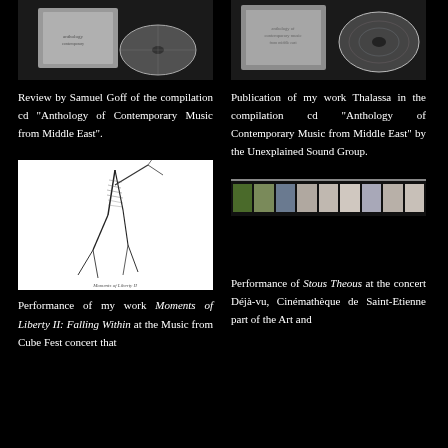[Figure (photo): CD case and disc - left column top]
[Figure (photo): CD case and disc - right column top]
Review by Samuel Goff of the compilation cd "Anthology of Contemporary Music from Middle East".
Publication of my work Thalassa in the compilation cd "Anthology of Contemporary Music from Middle East" by the Unexplained Sound Group.
[Figure (illustration): Black and white drawing/illustration of an abstract figure]
[Figure (photo): Film strip with color segments]
Performance of my work Moments of Liberty II: Falling Within at the Music from Cube Fest concert that
Performance of Stous Theous at the concert Déjà-vu, Cinémathèque de Saint-Etienne part of the Art and